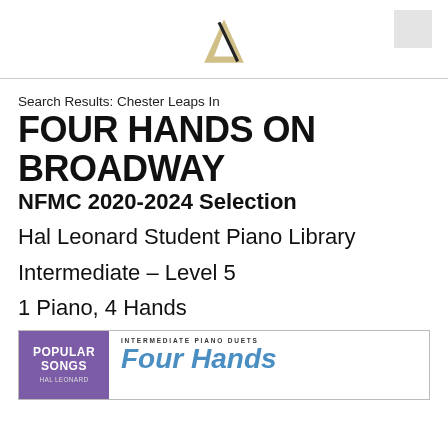[Figure (logo): Hal Leonard stylized logo mark — angular gold/tan geometric shape on white background]
Search Results: Chester Leaps In
FOUR HANDS ON BROADWAY
NFMC 2020-2024 Selection
Hal Leonard Student Piano Library
Intermediate – Level 5
1 Piano, 4 Hands
[Figure (photo): Book cover preview showing purple 'Popular Songs' label on left and 'Four Hands' title in blue italic on right with 'Intermediate Piano Duets' label]